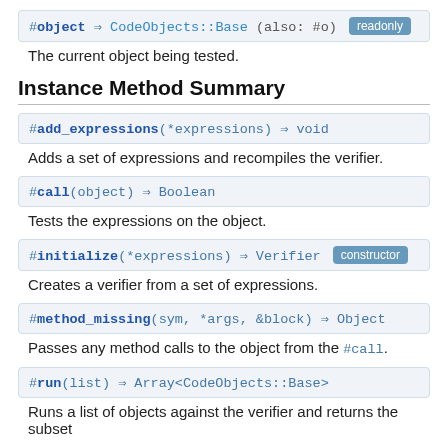#object ⇒ CodeObjects::Base (also: #o) [readonly]
The current object being tested.
Instance Method Summary
#add_expressions(*expressions) ⇒ void
Adds a set of expressions and recompiles the verifier.
#call(object) ⇒ Boolean
Tests the expressions on the object.
#initialize(*expressions) ⇒ Verifier [constructor]
Creates a verifier from a set of expressions.
#method_missing(sym, *args, &block) ⇒ Object
Passes any method calls to the object from the #call.
#run(list) ⇒ Array<CodeObjects::Base>
Runs a list of objects against the verifier and returns the subset